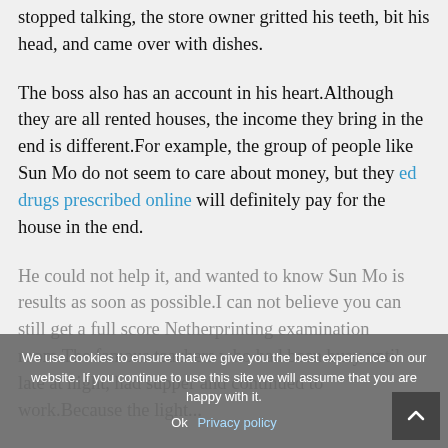stopped talking, the store owner gritted his teeth, bit his head, and came over with dishes.
The boss also has an account in his heart.Although they are all rented houses, the income they bring in the end is different.For example, the group of people like Sun Mo do not seem to care about money, but they ed drugs prescribed online will definitely pay for the house in the end.
He could not help it, and wanted to know Sun Mo is results as soon as possible.I can not believe you can still get a full score Netherprinting examination room.The famous teachers who had been busy until late at night, had supper and continued to work.Because the light...
We use cookies to ensure that we give you the best experience on our website. If you continue to use this site we will assume that you are happy with it.
Ok  Privacy policy